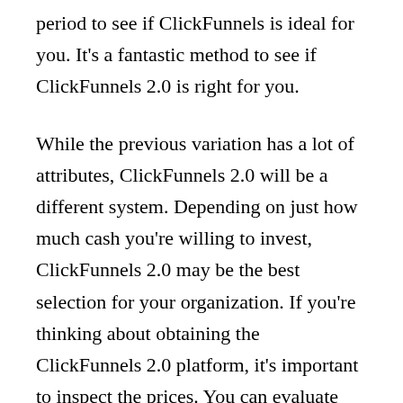period to see if ClickFunnels is ideal for you. It's a fantastic method to see if ClickFunnels 2.0 is right for you.
While the previous variation has a lot of attributes, ClickFunnels 2.0 will be a different system. Depending on just how much cash you're willing to invest, ClickFunnels 2.0 may be the best selection for your organization. If you're thinking about obtaining the ClickFunnels 2.0 platform, it's important to inspect the prices. You can evaluate out the basic version, yet the upgrade to ClickFunnels 2.0